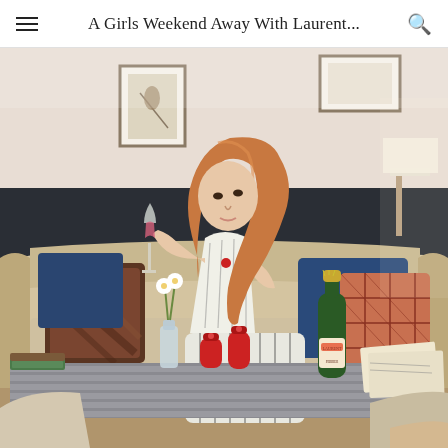A Girls Weekend Away With Laurent...
[Figure (photo): A young woman with long auburn hair, wearing a striped outfit, sits on a beige tufted sofa holding a champagne flute with a pink/rose drink. On the coffee table in front of her are a bottle of Laurent-Perrier rosé champagne, two red salt and pepper mills, a small vase with white flowers, and some items in the background. The setting appears to be an upscale bar or hotel lounge with dark wainscoting and framed artwork on the walls.]